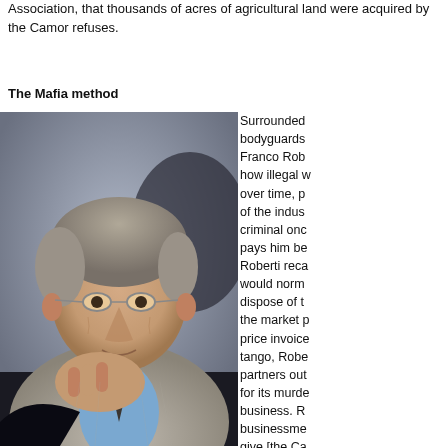Association, that thousands of acres of agricultural land were acquired by the Camor refuses.
The Mafia method
[Figure (photo): Close-up photograph of a middle-aged man with grey curly hair and glasses, resting his chin on his hand, wearing a light grey pinstripe suit and blue shirt with a dark tie, seated at what appears to be a conference or meeting setting.]
Surrounded bodyguards Franco Rob how illegal w over time, p of the indus criminal onc pays him be Roberti reca would norm dispose of t the market p price invoice tango, Robe partners out for its murde business. R businessme give [the Ca money."